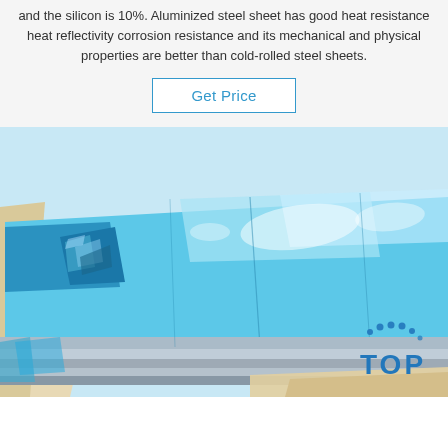and the silicon is 10%. Aluminized steel sheet has good heat resistance heat reflectivity corrosion resistance and its mechanical and physical properties are better than cold-rolled steel sheets.
Get Price
[Figure (photo): Steel sheets wrapped in blue protective film, stacked, showing metallic edges, with a 'TOP' watermark logo in the bottom right corner.]